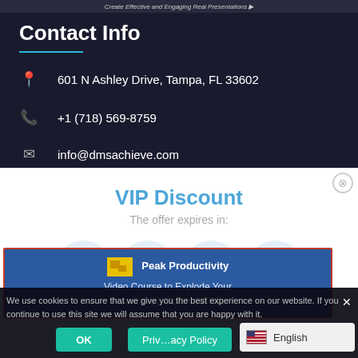Create Effective and Engaging Real Presentations
Contact Info
601 N Ashley Drive, Tampa, FL 33602
+1 (718) 569-8759
info@dmsachieve.com
VIP Discount
The offer expires in:
[Figure (other): Countdown timer showing 113 09 37 55 in circular bubbles]
[Figure (screenshot): Peak Productivity popup ad - blue box with red border. Title: Peak Productivity. Body: Video Course to Explode Your Productivity CLICK HERE! with yellow icon on left]
We use cookies to ensure that we give you the best experience on our website. If you continue to use this site we will assume that you are happy with it.
OK
Privacy Policy
English